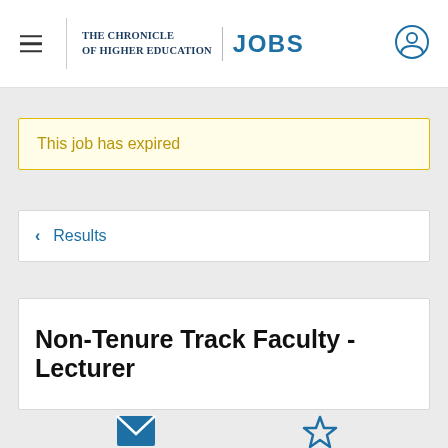THE CHRONICLE OF HIGHER EDUCATION | JOBS
This job has expired
< Results
Non-Tenure Track Faculty - Lecturer
Send job
Save